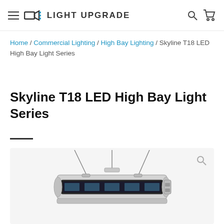≡ LD: LIGHT UPGRADE  🔍 🛒
Home / Commercial Lighting / High Bay Lighting / Skyline T18 LED High Bay Light Series
Skyline T18 LED High Bay Light Series
[Figure (photo): Product photo of Skyline T18 LED High Bay Light suspended by cables, showing a slim rectangular LED fixture with aluminum housing, viewed from below at slight angle.]